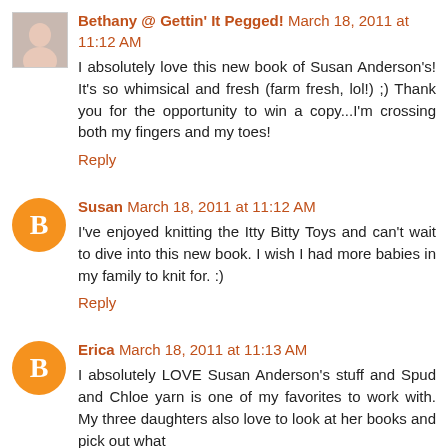Bethany @ Gettin' It Pegged! March 18, 2011 at 11:12 AM
I absolutely love this new book of Susan Anderson's! It's so whimsical and fresh (farm fresh, lol!) ;) Thank you for the opportunity to win a copy...I'm crossing both my fingers and my toes!
Reply
Susan March 18, 2011 at 11:12 AM
I've enjoyed knitting the Itty Bitty Toys and can't wait to dive into this new book. I wish I had more babies in my family to knit for. :)
Reply
Erica March 18, 2011 at 11:13 AM
I absolutely LOVE Susan Anderson's stuff and Spud and Chloe yarn is one of my favorites to work with. My three daughters also love to look at her books and pick out what